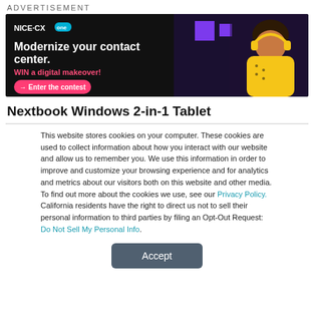ADVERTISEMENT
[Figure (illustration): NICE CXone advertisement banner with dark background. Text reads: 'Modernize your contact center. WIN a digital makeover! → Enter the contest'. Features a woman in yellow top with headphones on the right side.]
Nextbook Windows 2-in-1 Tablet
This website stores cookies on your computer. These cookies are used to collect information about how you interact with our website and allow us to remember you. We use this information in order to improve and customize your browsing experience and for analytics and metrics about our visitors both on this website and other media. To find out more about the cookies we use, see our Privacy Policy. California residents have the right to direct us not to sell their personal information to third parties by filing an Opt-Out Request: Do Not Sell My Personal Info.
Accept